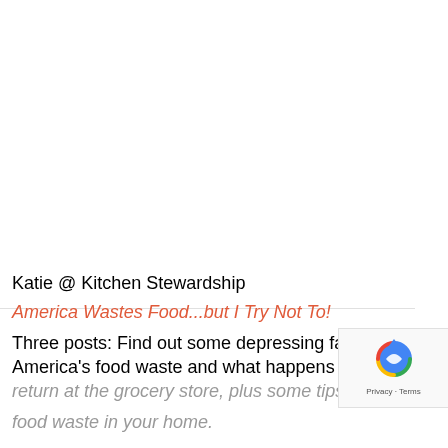Katie @ Kitchen Stewardship
America Wastes Food...but I Try Not To!
Three posts: Find out some depressing facts on America's food waste and what happens to food return at the grocery store, plus some tips for avo food waste in your home.